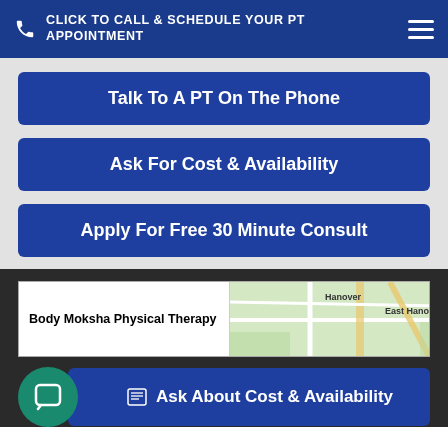CLICK TO CALL & SCHEDULE YOUR PT APPOINTMENT
Talk To A PT On The Phone
Ask For Cost & Availability
Apply For Free 30 Minute Consult
[Figure (map): Map showing Hanover and East Hanover area with label 'Body Moksha Physical Therapy']
Ask About Cost & Availability